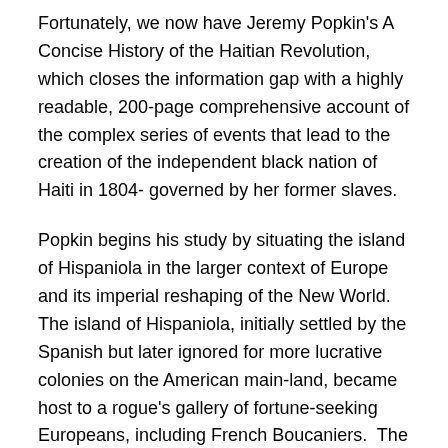Fortunately, we now have Jeremy Popkin's A Concise History of the Haitian Revolution, which closes the information gap with a highly readable, 200-page comprehensive account of the complex series of events that lead to the creation of the independent black nation of Haiti in 1804- governed by her former slaves.
Popkin begins his study by situating the island of Hispaniola in the larger context of Europe and its imperial reshaping of the New World.  The island of Hispaniola, initially settled by the Spanish but later ignored for more lucrative colonies on the American main-land, became host to a rogue's gallery of fortune-seeking Europeans, including French Boucaniers.  The French authorities sent a governor to administer over the lawless island outpost in 1665 and in 1697 the Spanish officially ceded the western 1/2 of the island to the French, who then added its new...